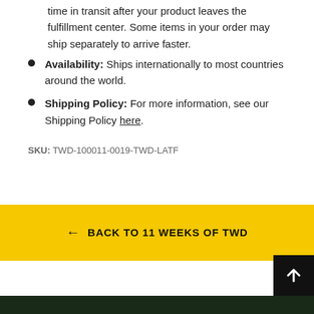time in transit after your product leaves the fulfillment center. Some items in your order may ship separately to arrive faster.
Availability: Ships internationally to most countries around the world.
Shipping Policy: For more information, see our Shipping Policy here.
SKU: TWD-100011-0019-TWD-LATF
← BACK TO 11 WEEKS OF TWD
SIGN UP AND SAVE